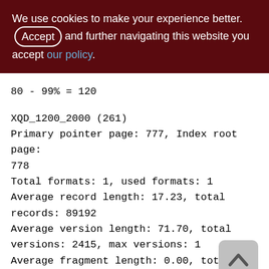We use cookies to make your experience better. By accepting and further navigating this website you accept our policy.
80 - 99% = 120
XQD_1200_2000 (261)
Primary pointer page: 777, Index root page: 778
Total formats: 1, used formats: 1
Average record length: 17.23, total records: 89192
Average version length: 71.70, total versions: 2415, max versions: 1
Average fragment length: 0.00, total fragments: 0, max fragments: 0